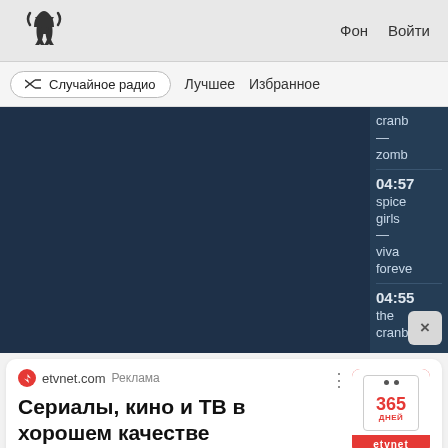((🔔)) Фон Войти
⇄ Случайное радио   Лучшее   Избранное
[Figure (screenshot): Dark blue music player panel showing playlist with times 04:57 spice girls — viva forever, 04:55 the cranb, close button]
cranb — zomb 04:57 spice girls — viva foreve 04:55 the cranb
etvnet.com Реклама
Сериалы, кино и ТВ в хорошем качестве